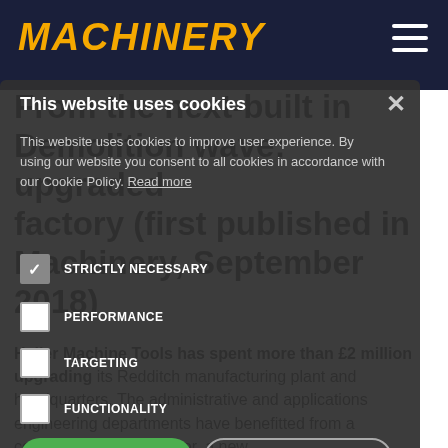MACHINERY
From the next-built-in Demolition wave: upgraded factory (first published in Machinery, September 2018)
[Figure (screenshot): Cookie consent modal overlay on Machinery website. Contains title 'This website uses cookies', description text, four checkbox options (Strictly Necessary checked, Performance, Targeting, Functionality unchecked), Accept All and Decline All buttons, and Show Details option.]
This website uses cookies to improve user experience. By using our website you consent to all cookies in accordance with our Cookie Policy. Read more
Heller Machine Tools has spent more than £2 million upgrading its Redditch manufacturing plant and headquarters. The administrative and applications engineering departments have benefitted from a comprehensive makeover, a new